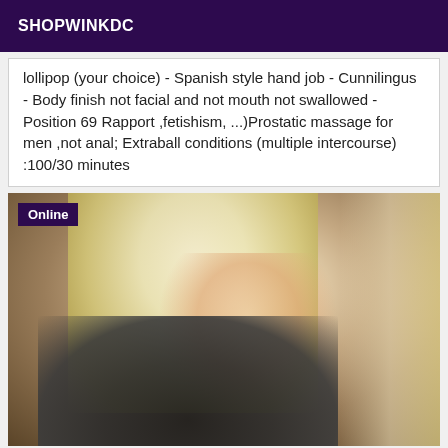SHOPWINKDC
lollipop (your choice) - Spanish style hand job - Cunnilingus - Body finish not facial and not mouth not swallowed - Position 69 Rapport ,fetishism, ...)Prostatic massage for men ,not anal; Extraball conditions (multiple intercourse) :100/30 minutes
[Figure (photo): Photo of a blonde woman wearing a dark lace outfit, posed indoors near a curtained window with soft lighting. An 'Online' badge overlay appears in the top-left corner of the image.]